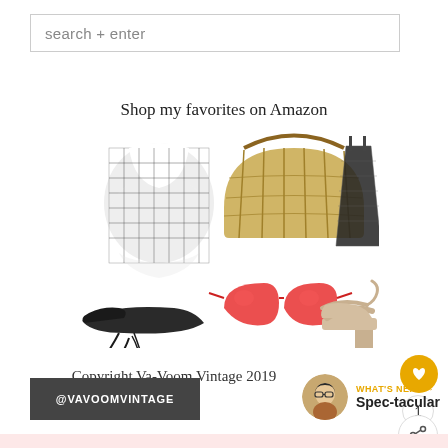search + enter
Shop my favorites on Amazon
[Figure (photo): Collage of fashion items including a black and white gingham dress, a bamboo arc bag, a black mesh skirt, black ballet flats with lace-up ties, red cat-eye sunglasses, and nude block heel sandals]
Copyright Va-Voom Vintage 2019
@VAVOOMVINTAGE
WHAT'S NEXT → Spec-tacular